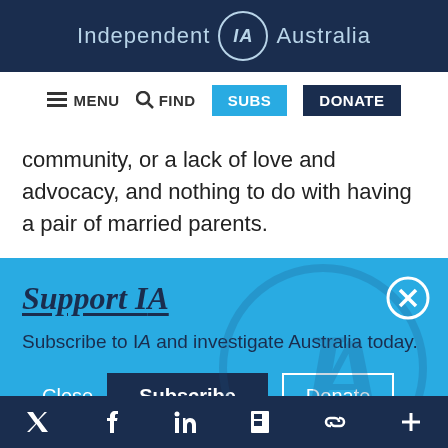Independent IA Australia
≡ MENU  🔍 FIND  SUBS  DONATE
community, or a lack of love and advocacy, and nothing to do with having a pair of married parents.
Support IA
Subscribe to IA and investigate Australia today.
Close  Subscribe  Donate
Twitter  Facebook  LinkedIn  Flipboard  Link  Plus